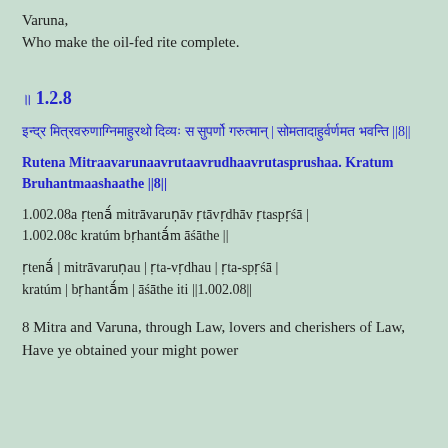Varuna,
Who make the oil-fed rite complete.
॥ 1.2.8
इन्द्र मित्रवरुणाग्निमाहुरथो दिव्यः स सुपर्णो गरुत्मान् | सोममा॒हुर्वर्णमत॒ भवन्ति ||8||
Rutena Mitraavarunaavrutaavrudhaavrutasprushaa. Kratum Bruhantmaashaathe ||8||
1.002.08a ṛtenā́ mitrāvaruṇāv ṛtāvṛdhāv ṛtaspṛśā |
1.002.08c kratúm bṛhantā́m āśāthe ||
ṛtenā́ | mitrāvaruṇau | ṛta-vṛdhau | ṛta-spṛśā |
kratúm | bṛhantā́m | āśāthe iti ||1.002.08||
8 Mitra and Varuna, through Law, lovers and cherishers of Law,
Have ye obtained your might power